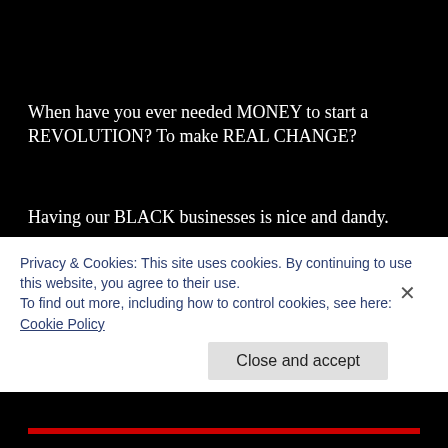When have you ever needed MONEY to start a REVOLUTION? To make REAL CHANGE?
Having our BLACK businesses is nice and dandy.
But what are building toward? Are we a cohesive unit? Do we have the same goals in mind?
Or are we going into business for self, as individuals? To make MONEY, just to add more duckies to the bank account to play with, sticking with this ILLUSION, the status quo?
Building within this SYSTEM is NOT sustainable for us in the long...
Privacy & Cookies: This site uses cookies. By continuing to use this website, you agree to their use.
To find out more, including how to control cookies, see here:
Cookie Policy
Close and accept